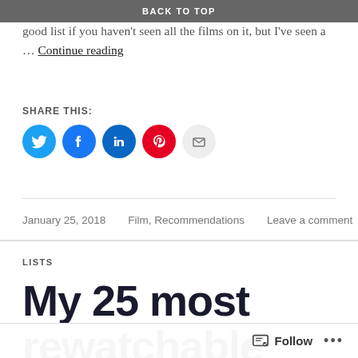BACK TO TOP
documentaries; the back to top list is from 2012! It's still a good list if you haven't seen all the films on it, but I've seen a … Continue reading
SHARE THIS:
[Figure (infographic): Row of social share icon circles: Twitter (blue), Facebook (blue), LinkedIn (dark blue), Pinterest (red), Email (grey)]
January 25, 2018    Film, Recommendations    Leave a comment
LISTS
My 25 most rewatchable
Follow ...